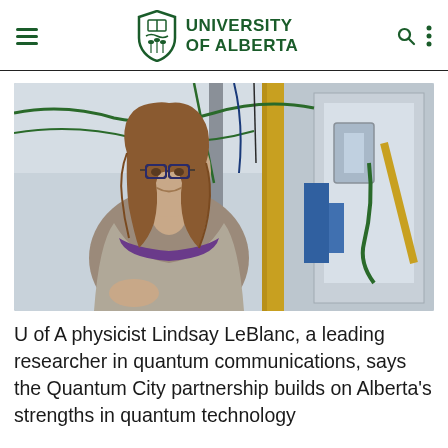UNIVERSITY OF ALBERTA
[Figure (photo): U of A physicist Lindsay LeBlanc standing in a laboratory with scientific equipment, cables, and apparatus visible in the background. She is wearing glasses and a purple top with a grey cardigan, smiling at the camera.]
U of A physicist Lindsay LeBlanc, a leading researcher in quantum communications, says the Quantum City partnership builds on Alberta's strengths in quantum technology